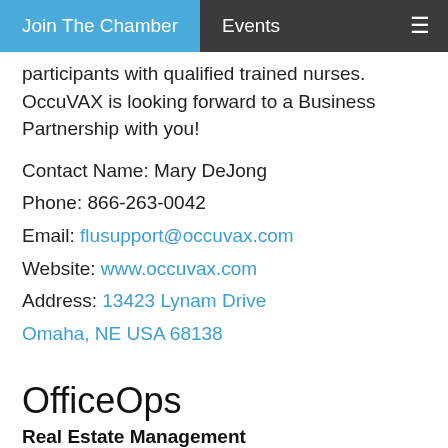Join The Chamber  Events
participants with qualified trained nurses. OccuVAX is looking forward to a Business Partnership with you!
Contact Name: Mary DeJong
Phone: 866-263-0042
Email: flusupport@occuvax.com
Website: www.occuvax.com
Address: 13423 Lynam Drive Omaha, NE USA 68138
OfficeOps
Real Estate Management
Contact Name: Kevin Lindamood